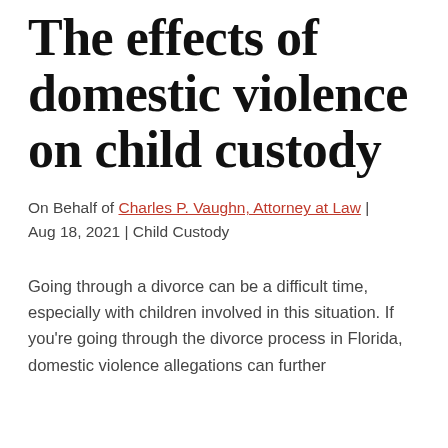The effects of domestic violence on child custody
On Behalf of Charles P. Vaughn, Attorney at Law | Aug 18, 2021 | Child Custody
Going through a divorce can be a difficult time, especially with children involved in this situation. If you're going through the divorce process in Florida, domestic violence allegations can further